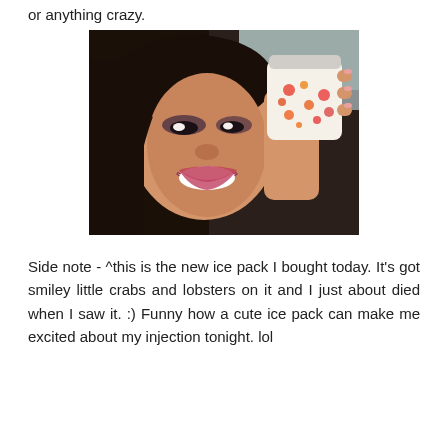or anything crazy.
[Figure (photo): A smiling young woman with dark hair and makeup holding up a small decorative jar/ice pack with a colorful pattern featuring crabs and lobsters on it.]
Side note - ^this is the new ice pack I bought today. It's got smiley little crabs and lobsters on it and I just about died when I saw it. :) Funny how a cute ice pack can make me excited about my injection tonight. lol